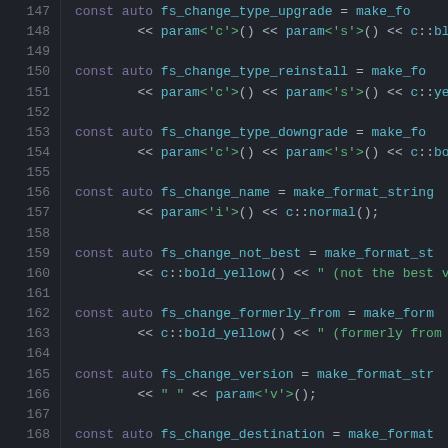[Figure (screenshot): Code editor screenshot showing C++ source code with syntax highlighting on dark background. Lines 147-174 visible, featuring const auto variable declarations with make_format_string calls and stream operators. Dark theme with purple keywords, teal identifiers, and green strings.]